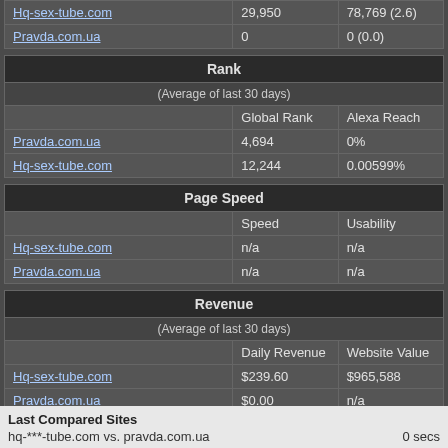|  |  |  |
| --- | --- | --- |
| Hq-sex-tube.com | 29,950 | 78,769 (2.6) |
| Pravda.com.ua | 0 | 0 (0.0) |
| Rank |  |  |
| --- | --- | --- |
| (Average of last 30 days) |  |  |
|  | Global Rank | Alexa Reach |
| Pravda.com.ua | 4,694 | 0% |
| Hq-sex-tube.com | 12,244 | 0.00599% |
| Page Speed |  |  |
| --- | --- | --- |
|  | Speed | Usability |
| Hq-sex-tube.com | n/a | n/a |
| Pravda.com.ua | n/a | n/a |
| Revenue |  |  |
| --- | --- | --- |
| (Average of last 30 days) |  |  |
|  | Daily Revenue | Website Value |
| Hq-sex-tube.com | $239.60 | $965,588 |
| Pravda.com.ua | $0.00 | n/a |
Last Compared Sites
hq-***-tube.com vs. pravda.com.ua   0 secs